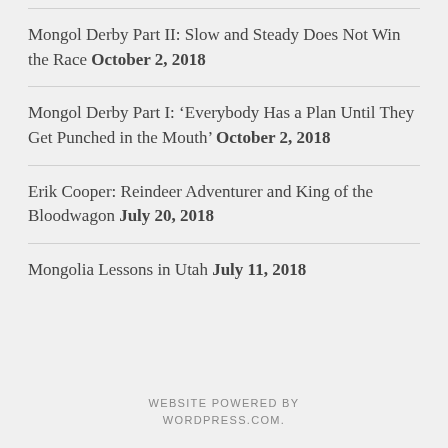Mongol Derby Part II: Slow and Steady Does Not Win the Race October 2, 2018
Mongol Derby Part I: ‘Everybody Has a Plan Until They Get Punched in the Mouth’ October 2, 2018
Erik Cooper: Reindeer Adventurer and King of the Bloodwagon July 20, 2018
Mongolia Lessons in Utah July 11, 2018
WEBSITE POWERED BY WORDPRESS.COM.